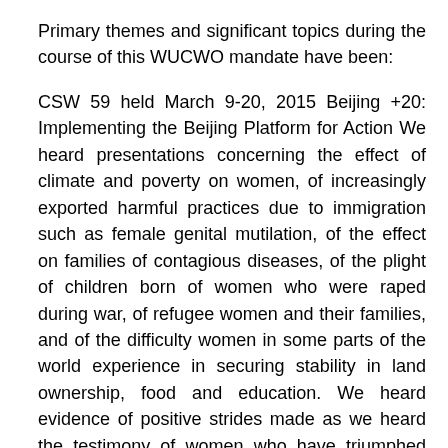Primary themes and significant topics during the course of this WUCWO mandate have been:
CSW 59 held March 9-20, 2015 Beijing +20: Implementing the Beijing Platform for Action We heard presentations concerning the effect of climate and poverty on women, of increasingly exported harmful practices due to immigration such as female genital mutilation, of the effect on families of contagious diseases, of the plight of children born of women who were raped during war, of refugee women and their families, and of the difficulty women in some parts of the world experience in securing stability in land ownership, food and education. We heard evidence of positive strides made as we heard the testimony of women who have triumphed over natural disasters and endemic poverty to establish businesses and who have attained political power. We also attended sessions regarding gender equality and aging. We learned of practices being adopted by businesses to balance family life with increased productivity. We heard